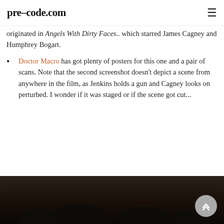pre-code.com
originated in Angels With Dirty Faces... which starred James Cagney and Humphrey Bogart.
Doctor Macro has got plenty of posters for this one and a pair of scans. Note that the second screenshot doesn't depict a scene from anywhere in the film, as Jenkins holds a gun and Cagney looks on perturbed. I wonder if it was staged or if the scene got cut...
[Figure (photo): Black and white film still showing figures in a dark scene, bottom portion of page]